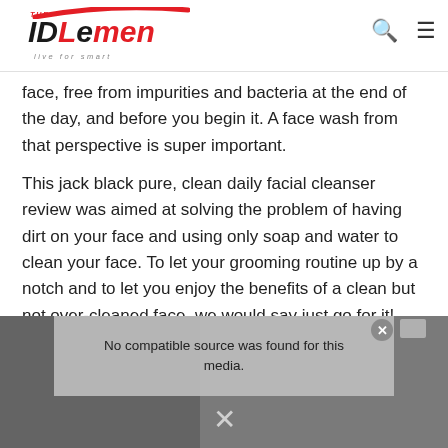THE IDLEMEN - live for smart
face, free from impurities and bacteria at the end of the day, and before you begin it. A face wash from that perspective is super important.
This jack black pure, clean daily facial cleanser review was aimed at solving the problem of having dirt on your face and using only soap and water to clean your face. To let your grooming routine up by a notch and to let you enjoy the benefits of a clean but not over-cleaned face, we would say just go for it!
[Figure (screenshot): Video player overlay showing 'No compatible source was found for this media.' message with a close button and scroll bar on grey background]